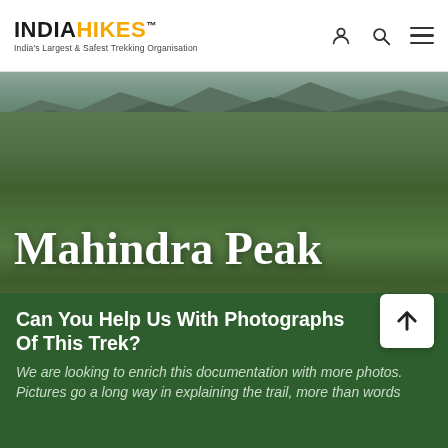INDIAHIKES™ — India's Largest & Safest Trekking Organisation
[Figure (photo): Aerial landscape view of Mahindra Peak area showing rolling green hills covered in grass and shrubs with mountain ranges visible in the background under overcast skies.]
Mahindra Peak
Trek To One Of The Highest Peaks in Eastern Ghats
Can You Help Us With Photographs Of This Trek?
We are looking to enrich this documentation with more photos. Pictures go a long way in explaining the trail, more than words